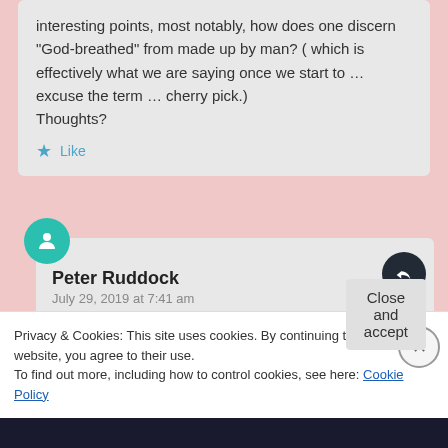interesting points, most notably, how does one discern "God-breathed" from made up by man? ( which is effectively what we are saying once we start to … excuse the term … cherry pick.)
Thoughts?
Like
Peter Ruddock
July 29, 2019 at 7:41 am
First, when the writer of the letter referred to Scripture he could not possibly have
Privacy & Cookies: This site uses cookies. By continuing to use this website, you agree to their use.
To find out more, including how to control cookies, see here: Cookie Policy
Close and accept